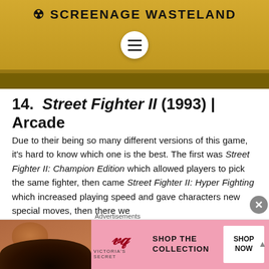☢ SCREENAGE WASTELAND
[Figure (screenshot): Website header banner for Screenage Wasteland with golden/yellow background showing Street Fighter II game imagery, a circular menu button with three horizontal lines, and the site title.]
14. Street Fighter II (1993) | Arcade
Due to their being so many different versions of this game, it's hard to know which one is the best. The first was Street Fighter II: Champion Edition which allowed players to pick the same fighter, then came Street Fighter II: Hyper Fighting which increased playing speed and gave characters new special moves, then there we
Advertisements
[Figure (screenshot): Victoria's Secret advertisement banner showing a model, the VS logo, Victoria's Secret text, Shop the Collection text, and a Shop Now button on a pink background.]